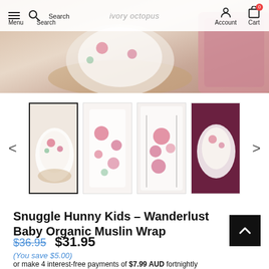Menu  Search  ivory octopus  Account  Cart
[Figure (photo): Hero banner showing a baby wrapped in a floral muslin wrap, warm tones]
[Figure (photo): Thumbnail gallery showing 4 product images of Wanderlust Baby Organic Muslin Wrap: baby in wrap, fabric close-up, wrap draped on hangers, baby swaddled on dark background]
Snuggle Hunny Kids – Wanderlust Baby Organic Muslin Wrap
$36.95  $31.95
(You save $5.00)
or make 4 interest-free payments of $7.99 AUD fortnightly